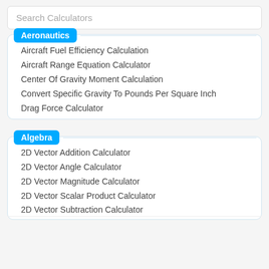Search Calculators
Aeronautics
Aircraft Fuel Efficiency Calculation
Aircraft Range Equation Calculator
Center Of Gravity Moment Calculation
Convert Specific Gravity To Pounds Per Square Inch
Drag Force Calculator
Algebra
2D Vector Addition Calculator
2D Vector Angle Calculator
2D Vector Magnitude Calculator
2D Vector Scalar Product Calculator
2D Vector Subtraction Calculator